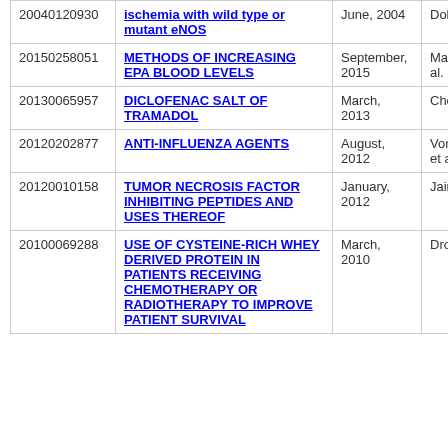|  | Title | Date | Author |
| --- | --- | --- | --- |
| 20040120930 | ischemia with wild type or mutant eNOS | June, 2004 | Dole et al. |
| 20150258051 | METHODS OF INCREASING EPA BLOOD LEVELS | September, 2015 | Manku et al. |
| 20130065957 | DICLOFENAC SALT OF TRAMADOL | March, 2013 | Chen et al. |
| 20120202877 | ANTI-INFLUENZA AGENTS | August, 2012 | Von Itzstein et al. |
| 20120010158 | TUMOR NECROSIS FACTOR INHIBITING PEPTIDES AND USES THEREOF | January, 2012 | Jain et al. |
| 20100069288 | USE OF CYSTEINE-RICH WHEY DERIVED PROTEIN IN PATIENTS RECEIVING CHEMOTHERAPY OR RADIOTHERAPY TO IMPROVE PATIENT SURVIVAL | March, 2010 | Droge et al. |